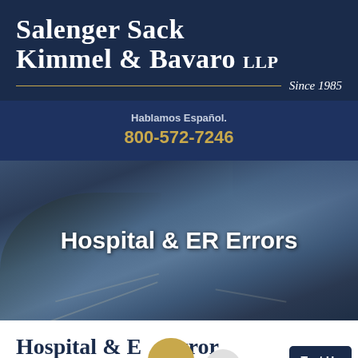Salenger Sack Kimmel & Bavaro LLP Since 1985
Hablamos Español. 800-572-7246
[Figure (photo): Background photo of surgeons performing an operation with surgical instruments, overlaid with dark blue tint]
Hospital & ER Errors
Hospital & ER Error Attorneys in New York